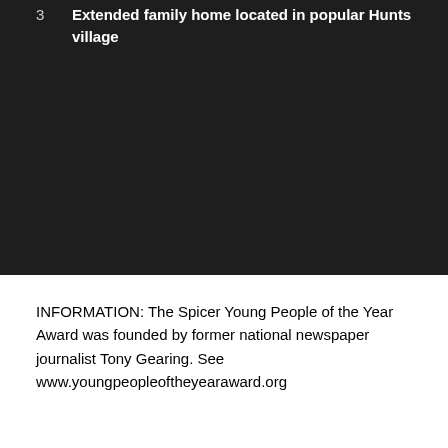3   Extended family home located in popular Hunts village
INFORMATION: The Spicer Young People of the Year Award was founded by former national newspaper journalist Tony Gearing. See www.youngpeopleoftheyearaward.org